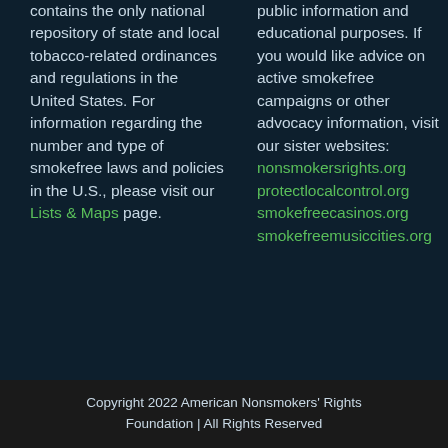contains the only national repository of state and local tobacco-related ordinances and regulations in the United States. For information regarding the number and type of smokefree laws and policies in the U.S., please visit our Lists & Maps page.
public information and educational purposes. If you would like advice on active smokefree campaigns or other advocacy information, visit our sister websites: nonsmokersrights.org protectlocalcontrol.org smokefreecasinos.org smokefreemusiccities.org
Copyright 2022 American Nonsmokers' Rights Foundation | All Rights Reserved